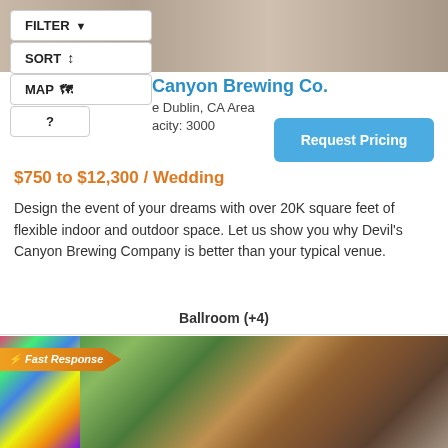[Figure (photo): Top photo showing a wedding venue interior, couple dancing on a polished floor]
FILTER
SORT
MAP
?
Canyon Brewing Co.
e Dublin, CA Area
acity: 3000
Request Pricing
$750 to $12,300 / Wedding
Design the event of your dreams with over 20K square feet of flexible indoor and outdoor space. Let us show you why Devil's Canyon Brewing Company is better than your typical venue.
Ballroom (+4)
[Figure (photo): Outdoor wedding venue with rows of chairs, stone fireplace, lush greenery, pergola structure, and colorful fairy lights on the left side. Fast Response badge visible.]